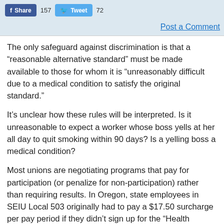[Figure (screenshot): Social media share buttons: Facebook Share with count 157, Twitter Tweet with count 72]
Post a Comment
The only safeguard against discrimination is that a “reasonable alternative standard” must be made available to those for whom it is “unreasonably difficult due to a medical condition to satisfy the original standard.”
It’s unclear how these rules will be interpreted. Is it unreasonable to expect a worker whose boss yells at her all day to quit smoking within 90 days? Is a yelling boss a medical condition?
Most unions are negotiating programs that pay for participation (or penalize for non-participation) rather than requiring results. In Oregon, state employees in SEIU Local 503 originally had to pay a $17.50 surcharge per pay period if they didn’t sign up for the “Health Engagement Model” and participate in two activities, such as classes, per year. The stick’s been changed to a carrot: they now get $17.50 for